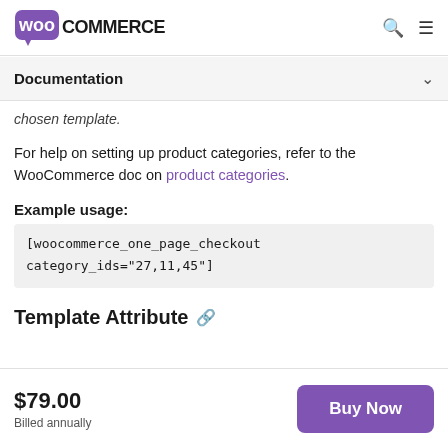WooCommerce
Documentation
chosen template.
For help on setting up product categories, refer to the WooCommerce doc on product categories.
Example usage:
[woocommerce_one_page_checkout category_ids="27,11,45"]
Template Attribute
$79.00
Billed annually